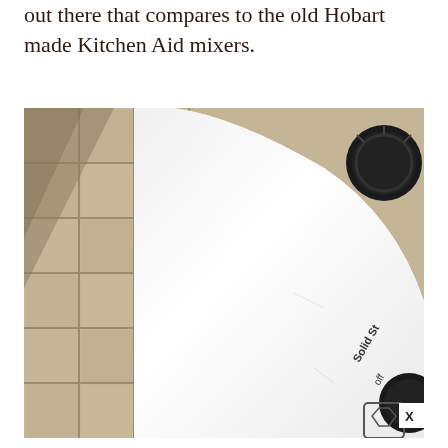out there that compares to the old Hobart made Kitchen Aid mixers.
[Figure (photo): Close-up photograph of a white KitchenAid stand mixer body against a tiled countertop/floor background. The mixer shows a smooth white enamel surface. A black speed control knob is visible in the upper right. Text reading 'Solid St' and 'off' is partially visible on the lower right side of the mixer. A seal/badge is partially visible at the bottom right. An X button appears in the lower right corner of the image.]